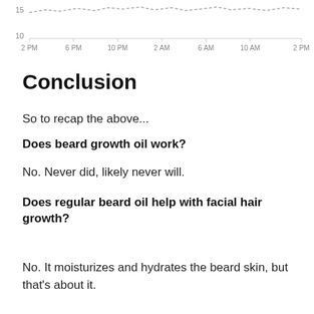[Figure (continuous-plot): Partial line chart showing a fluctuating line near y=10-15, with x-axis time labels: 2 PM, 6 PM, 10 PM, 2 AM, 6 AM, 10 AM, 2 PM]
Conclusion
So to recap the above...
Does beard growth oil work?
No. Never did, likely never will.
Does regular beard oil help with facial hair growth?
No. It moisturizes and hydrates the beard skin, but that's about it.